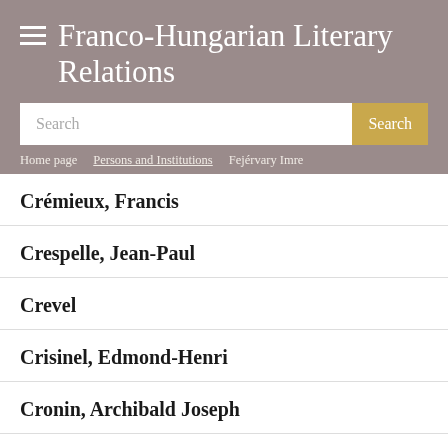Franco-Hungarian Literary Relations
Search
Home page | Persons and Institutions | Fejérvary Imre
Crémieux, Francis
Crespelle, Jean-Paul
Crevel
Crisinel, Edmond-Henri
Cronin, Archibald Joseph